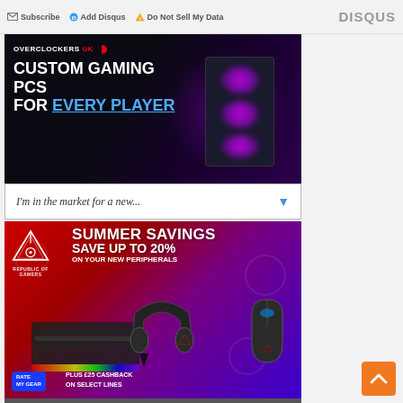Subscribe  Add Disqus  Do Not Sell My Data   DISQUS
[Figure (illustration): Overclockers UK banner advertisement showing a dark background with a glowing gaming PC case with pink/purple RGB fans. Text reads: OVERCLOCKERS UK - CUSTOM GAMING PCS FOR EVERY PLAYER]
[Figure (other): Dropdown selector widget with text: I'm in the market for a new... with a blue chevron arrow]
[Figure (illustration): ASUS Republic of Gamers (ROG) advertisement with red-to-purple gradient background. Text: SUMMER SAVINGS - SAVE UP TO 20% ON YOUR NEW PERIPHERALS. Shows gaming keyboard, headset and mouse. Rate My Gear badge. PLUS £25 CASHBACK ON SELECT LINES.]
[Figure (other): Orange scroll-to-top button with upward chevron arrow]